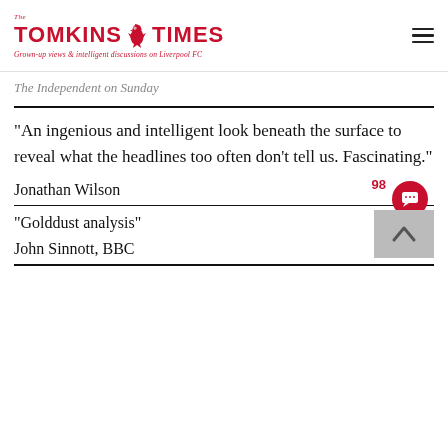The Tomkins Times — Grown-up views & intelligent discussions on Liverpool FC
The Independent on Sunday
“An ingenious and intelligent look beneath the surface to reveal what the headlines too often don’t tell us. Fascinating.”
Jonathan Wilson
“Golddust analysis”
John Sinnott, BBC